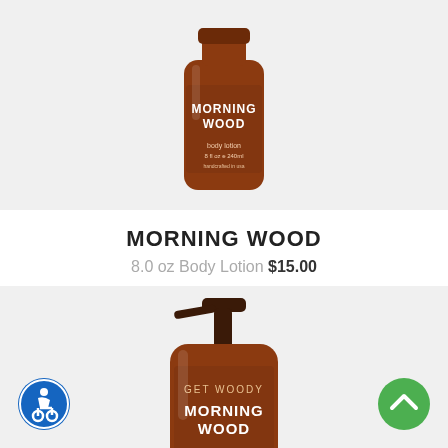[Figure (photo): Brown amber glass bottle of Morning Wood body lotion, 8 fl oz / 240ml, partially cropped at top]
MORNING WOOD
8.0 oz Body Lotion $15.00
[Figure (photo): Brown amber pump bottle of Morning Wood body wash, 8 fl oz / 240ml, labeled GET WOODY at top]